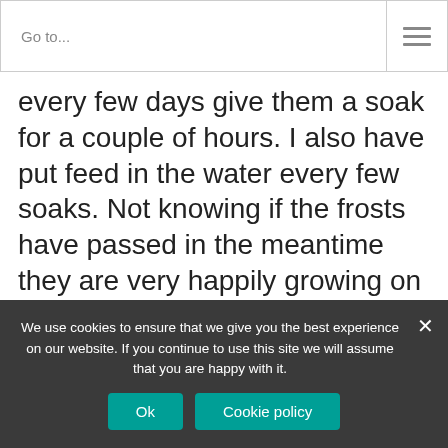Go to...
every few days give them a soak for a couple of hours. I also have put feed in the water every few soaks. Not knowing if the frosts have passed in the meantime they are very happily growing on my sunny kitchen window sill! But now I'm not sure if the many new fragile leaves will all be wiped out in an unexpected frost! I though buying bare root with leaves was a good sign the root was alive at least but now I think it may be best to plant straight away whilst it has as
We use cookies to ensure that we give you the best experience on our website. If you continue to use this site we will assume that you are happy with it.